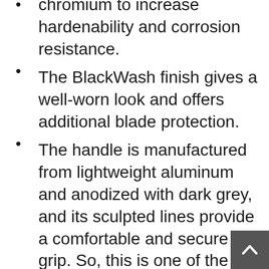It has a high amount of carbon and chromium to increase hardenability and corrosion resistance.
The BlackWash finish gives a well-worn look and offers additional blade protection.
The handle is manufactured from lightweight aluminum and anodized with dark grey, and its sculpted lines provide a comfortable and secure grip. So, this is one of the best deer hunting knives.
For easy opening, it is equipped with a Speed Safe assisted opening, and accessed with the built-in flipper.
Its liner lock stabilizes the sharp blade during use, and the pocket clip allows for safe tip up/down carry. Also,